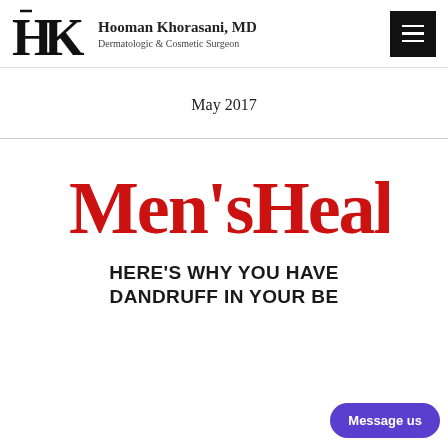Hooman Khorasani, MD — Dermatologic & Cosmetic Surgeon
May 2017
[Figure (logo): Men's Health magazine logo in red bold serif font]
HERE'S WHY YOU HAVE DANDRUFF IN YOUR BE...